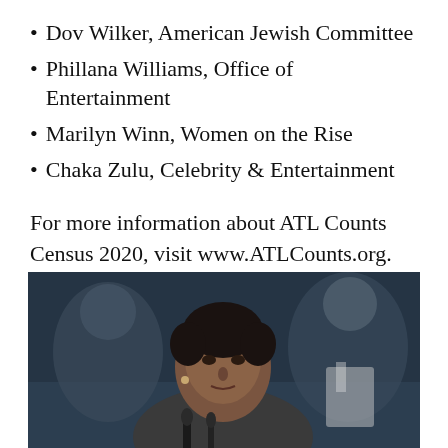Dov Wilker, American Jewish Committee
Phillana Williams, Office of Entertainment
Marilyn Winn, Women on the Rise
Chaka Zulu, Celebrity & Entertainment
For more information about ATL Counts Census 2020, visit www.ATLCounts.org.
[Figure (photo): A woman speaking at a podium with microphones, with blurred people in the background. Professional press conference setting with dark background.]